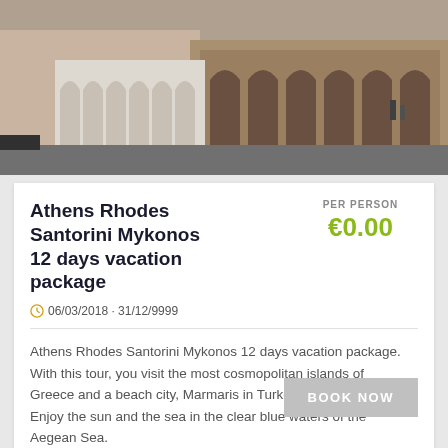[Figure (photo): Photograph of a historic building exterior with arched colonnade, taken at street level. Brick and stone architecture with gothic arched windows visible.]
Athens Rhodes Santorini Mykonos 12 days vacation package
06/03/2018 · 31/12/9999
PER PERSON €0.00
Athens Rhodes Santorini Mykonos 12 days vacation package. With this tour, you visit the most cosmopolitan islands of Greece and a beach city, Marmaris in Turkey with a day trip. Enjoy the sun and the sea in the clear blue waters of the Aegean Sea.
[Figure (photo): Photograph of a classical Greek or Roman statue with warm golden/brown tones, partially visible with inscribed text on stone in background.]